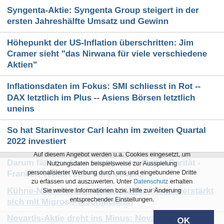Syngenta-Aktie: Syngenta Group steigert in der ersten Jahreshälfte Umsatz und Gewinn
Höhepunkt der US-Inflation überschritten: Jim Cramer sieht "das Nirwana für viele verschiedene Aktien"
Inflationsdaten im Fokus: SMI schliesst in Rot -- DAX letztlich im Plus -- Asiens Börsen letztlich uneins
So hat Starinvestor Carl Icahn im zweiten Quartal 2022 investiert
Darum fällt der Euro knapp unter Dollar-Parität - Franken verliert zum Euro deutlich
Kühne-Nagel-Aktie leichter: Kühne+Nagel verstärkt sich mit Migros-Personalchefin
Novartis-Aktie dreht ins Minus: Novartis erhält für Leukämie-Mittel Scemblix Zulassung in der europäische Union
Auf diesem Angebot werden u.a. Cookies eingesetzt, um Nutzungsdaten beispielsweise zur Ausspielung personalisierter Werbung durch uns und eingebundene Dritte zu erfassen und auszuwerten. Unter Datenschutz erhalten Sie weitere Informationen bzw. Hilfe zur Änderung entsprechender Einstellungen.